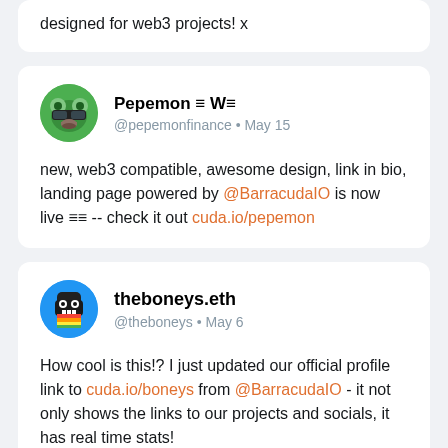designed for web3 projects! x
Pepemon ≡ W≡ @pepemonfinance • May 15
new, web3 compatible, awesome design, link in bio, landing page powered by @BarracudaIO is now live ≡≡ -- check it out cuda.io/pepemon
theboneys.eth @theboneys • May 6
How cool is this!? I just updated our official profile link to cuda.io/boneys from @BarracudaIO - it not only shows the links to our projects and socials, it has real time stats!